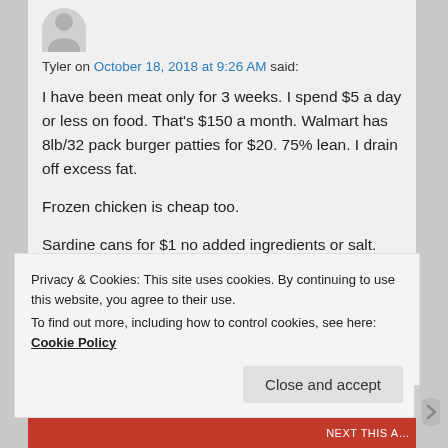Tyler on October 18, 2018 at 9:26 AM said:
I have been meat only for 3 weeks. I spend $5 a day or less on food. That's $150 a month. Walmart has 8lb/32 pack burger patties for $20. 75% lean. I drain off excess fat.

Frozen chicken is cheap too.

Sardine cans for $1 no added ingredients or salt.

Pork chops on sale for $1.80 lb. And pulled pork roast is sometimes 99 cents a pound.
Privacy & Cookies: This site uses cookies. By continuing to use this website, you agree to their use.
To find out more, including how to control cookies, see here: Cookie Policy